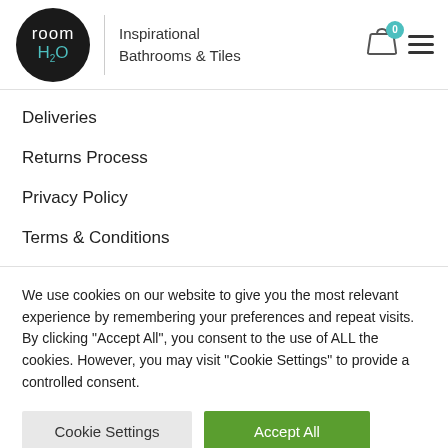[Figure (logo): room H2O logo — black circle with white 'room' text and teal 'H2O' subscript text, with vertical divider line and tagline 'Inspirational Bathrooms & Tiles']
Deliveries
Returns Process
Privacy Policy
Terms & Conditions
We use cookies on our website to give you the most relevant experience by remembering your preferences and repeat visits. By clicking "Accept All", you consent to the use of ALL the cookies. However, you may visit "Cookie Settings" to provide a controlled consent.
Cookie Settings | Accept All